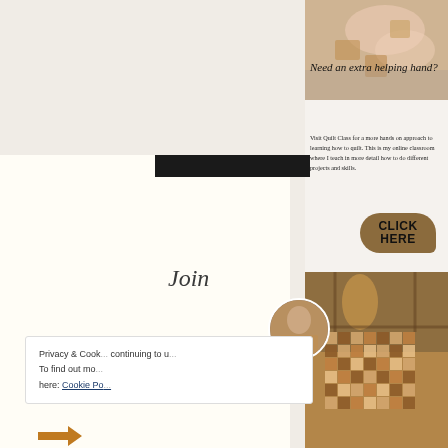[Figure (photo): Screenshot of a quilting blog/website page showing an advertisement overlay. The ad features photos of hands holding quilt fabric and a woman holding a patchwork quilt on a porch. The main content area shows text about Quilt Class with a 'Click Here' button. A cookie consent notice is partially visible at the bottom left.]
Need an extra helping hand?
Visit Quilt Class for a more hands on approach to learning how to quilt. This is my online classroom where I teach in more detail how to do different projects and skills.
Join
Privacy & Cookie... continuing to u... To find out mo... here: Cookie Po...